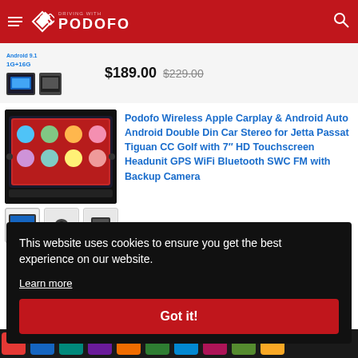[Figure (screenshot): Podofo website header with red background, hamburger menu, diamond logo, PODOFO text, and search icon]
Android 9.1
1G+16G
$189.00  $229.00
[Figure (photo): Podofo car stereo product main image showing Android Auto interface on 7 inch screen, with three thumbnail images below]
Podofo Wireless Apple Carplay & Android Auto Android Double Din Car Stereo for Jetta Passat Tiguan CC Golf with 7″ HD Touchscreen Headunit GPS WiFi Bluetooth SWC FM with Backup Camera
This website uses cookies to ensure you get the best experience on our website.
Learn more
Got it!
[Figure (screenshot): Bottom navigation strip of the Podofo website showing colorful app icons]